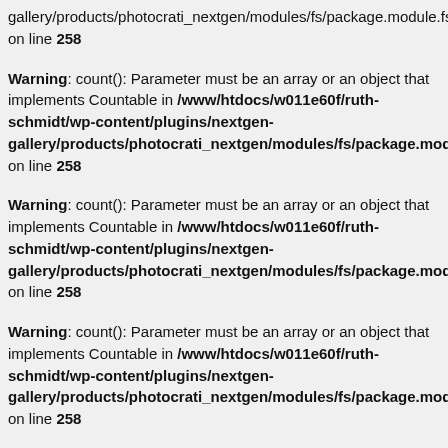gallery/products/photocrati_nextgen/modules/fs/package.module.fs.php on line 258
Warning: count(): Parameter must be an array or an object that implements Countable in /www/htdocs/w011e60f/ruth-schmidt/wp-content/plugins/nextgen-gallery/products/photocrati_nextgen/modules/fs/package.module.fs.php on line 258
Warning: count(): Parameter must be an array or an object that implements Countable in /www/htdocs/w011e60f/ruth-schmidt/wp-content/plugins/nextgen-gallery/products/photocrati_nextgen/modules/fs/package.module.fs.php on line 258
Warning: count(): Parameter must be an array or an object that implements Countable in /www/htdocs/w011e60f/ruth-schmidt/wp-content/plugins/nextgen-gallery/products/photocrati_nextgen/modules/fs/package.module.fs.php on line 258
Warning: count(): Parameter must be an array or an object that implements